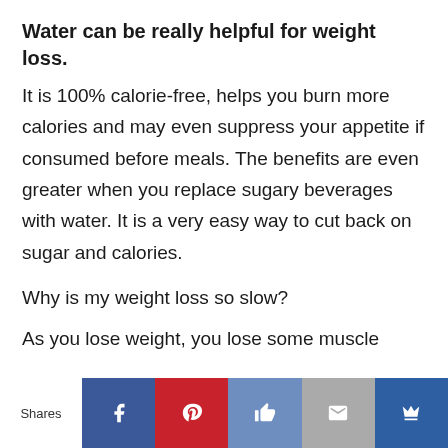Water can be really helpful for weight loss.
It is 100% calorie-free, helps you burn more calories and may even suppress your appetite if consumed before meals. The benefits are even greater when you replace sugary beverages with water. It is a very easy way to cut back on sugar and calories.
Why is my weight loss so slow?
As you lose weight, you lose some muscle
[Figure (infographic): Social sharing bar with Shares label and buttons: Facebook (blue), Pinterest (red), Like/thumbs-up (blue-grey), Mail (grey), Crown/bookmark (dark blue)]